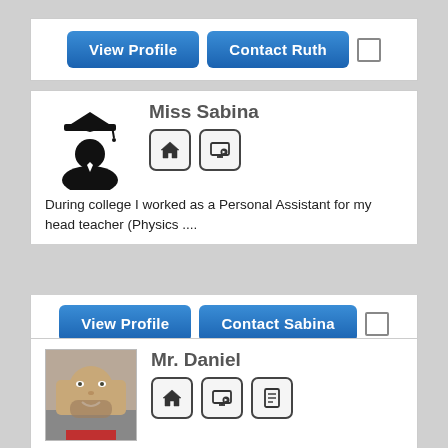[Figure (other): View Profile and Contact Ruth buttons with checkbox]
[Figure (other): Miss Sabina profile card with graduation cap avatar, home and online icons, bio text]
[Figure (other): View Profile and Contact Sabina buttons with checkbox]
[Figure (photo): Mr. Daniel profile card with photo of bearded man, home, online, and document icons, bio text]